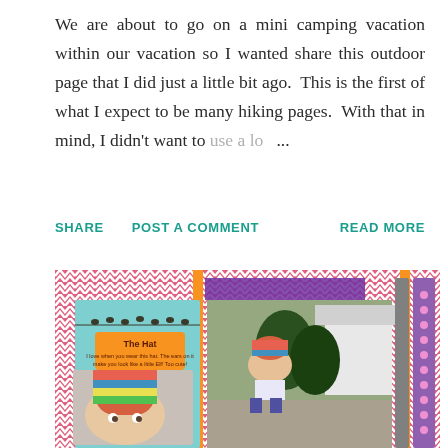We are about to go on a mini camping vacation within our vacation so I wanted share this outdoor page that I did just a little bit ago.  This is the first of what I expect to be many hiking pages.  With that in mind, I didn't want to use a lo ...
SHARE   POST A COMMENT   READ MORE
[Figure (photo): A scrapbook page with pink and white chevron patterned background, featuring two photos of a baby/toddler wearing a colorful striped hat, with decorative elements including a teal card labeled 'The Hat' with handwritten text, orange borders, and purple decorations.]